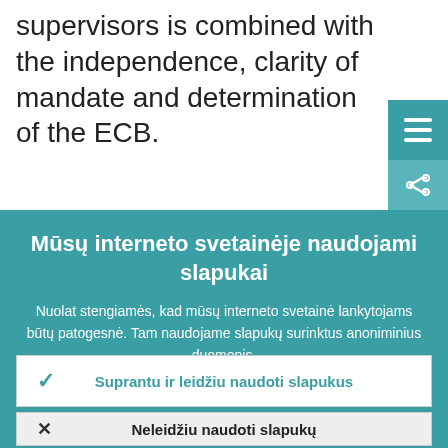supervisors is combined with the independence, clarity of mandate and determination of the ECB.
Mūsų interneto svetainėje naudojami slapukai
Nuolat stengiamės, kad mūsų interneto svetainė lankytojams būtų patogesnė. Tam naudojame slapukų surinktus anoniminius duomenis.
Sužinokite daugiau, kaip naudojame slapukus
Suprantu ir leidžiu naudoti slapukus
Neleidžiu naudoti slapukų